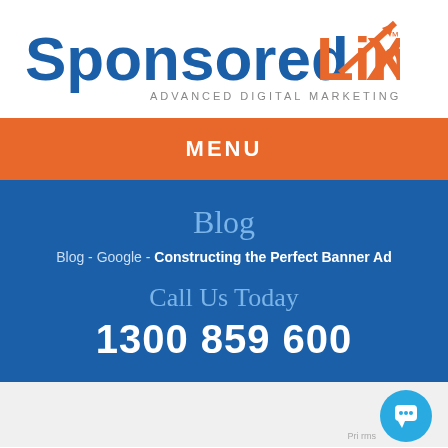[Figure (logo): SponsoredLinX Advanced Digital Marketing logo with blue and orange text and an upward arrow graphic]
MENU
Blog
Blog - Google - Constructing the Perfect Banner Ad
Call Us Today
1300 859 600
[Figure (other): Live chat button (blue circular icon with speech bubble)]